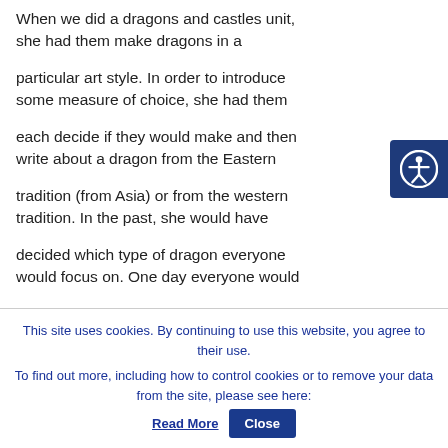When we did a dragons and castles unit, she had them make dragons in a particular art style. In order to introduce some measure of choice, she had them each decide if they would make and then write about a dragon from the Eastern tradition (from Asia) or from the western tradition. In the past, she would have decided which type of dragon everyone would focus on. One day everyone would
[Figure (other): Accessibility icon button — circular person with arms outstretched inside a circle, white on dark navy blue background]
This site uses cookies. By continuing to use this website, you agree to their use. To find out more, including how to control cookies or to remove your data from the site, please see here: Read More